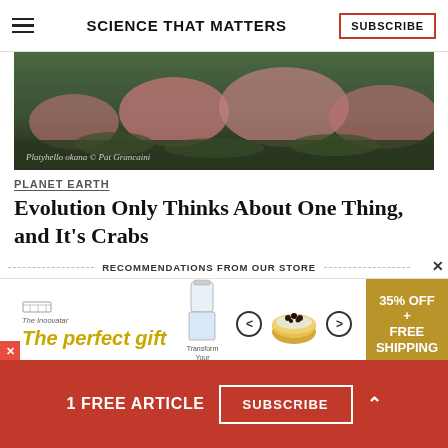SCIENCE THAT MATTERS | SUBSCRIBE
[Figure (photo): Scientific illustration of crabs or prehistoric creatures on a mossy landscape, with caption text 'Platyhello okana © Pat Grancaini']
PLANET EARTH
Evolution Only Thinks About One Thing, and It's Crabs
RECOMMENDATIONS FROM OUR STORE
[Figure (screenshot): Advertisement banner for 'The perfect gift' showing product images, navigation arrows, and '35% OFF + FREE SHIPPING' offer]
1 FREE ARTICLE  SUBSCRIBE